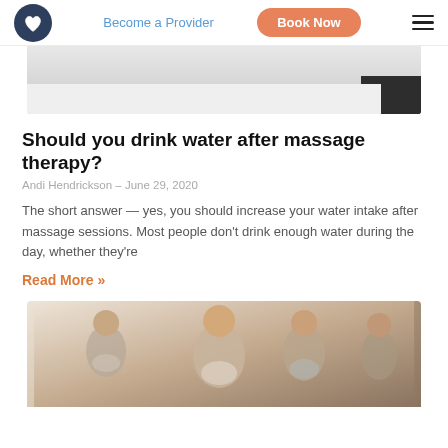Become a Provider | Book Now
[Figure (photo): Partial view of a massage therapy session showing white sheets and dark clothing, cropped at top.]
Should you drink water after massage therapy?
Andi Hendrickson – June 29, 2020
The short answer — yes, you should increase your water intake after massage sessions. Most people don't drink enough water during the day, whether they're
Read More »
[Figure (photo): Group of women in workout attire sitting and meditating or doing yoga together in a light-colored room.]